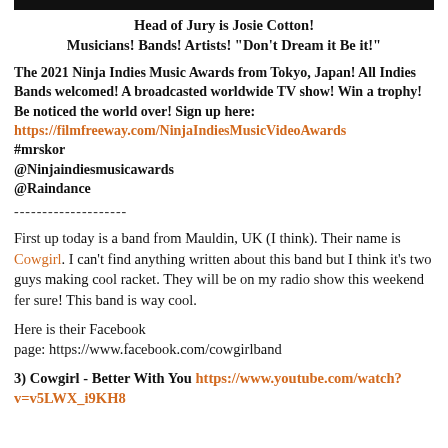[Figure (other): Black horizontal bar at top of page]
Head of Jury is Josie Cotton!
Musicians! Bands! Artists! "Don't Dream it Be it!"
The 2021 Ninja Indies Music Awards from Tokyo, Japan! All Indies Bands welcomed! A broadcasted worldwide TV show! Win a trophy! Be noticed the world over! Sign up here:
https://filmfreeway.com/NinjaIndiesMusicVideoAwards
#mrskor
@Ninjaindiesmusicawards
@Raindance
--------------------
First up today is a band from Mauldin, UK (I think). Their name is Cowgirl. I can't find anything written about this band but I think it's two guys making cool racket. They will be on my radio show this weekend fer sure! This band is way cool.
Here is their Facebook page: https://www.facebook.com/cowgirlband
3) Cowgirl - Better With You https://www.youtube.com/watch?v=v5LWX_i9KH8